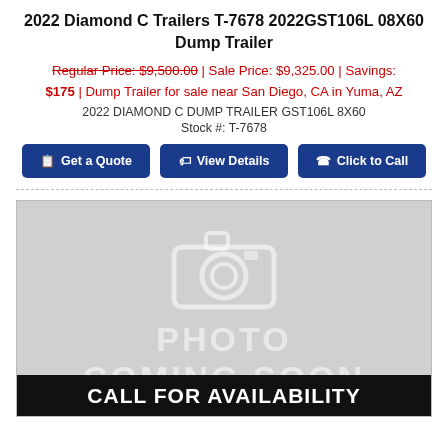2022 Diamond C Trailers T-7678 2022GST106L 08X60 Dump Trailer
Regular Price: $9,500.00 | Sale Price: $9,325.00 | Savings: $175 | Dump Trailer for sale near San Diego, CA in Yuma, AZ
2022 DIAMOND C DUMP TRAILER GST106L 8X60
Stock #: T-7678
Get a Quote | View Details | Click to Call
[Figure (photo): Placeholder image with camera icon and text PHOTO COMING SOON with CALL FOR AVAILABILITY banner at bottom]